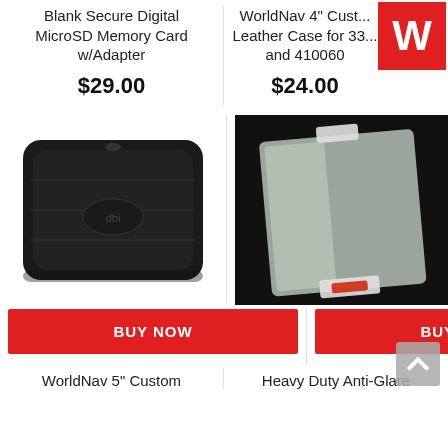Blank Secure Digital MicroSD Memory Card w/Adapter
$29.00
WorldNav 4" Custom Leather Case for 33... and 410060
$24.00
[Figure (photo): Black leather wallet-style case with brand logo, shown on white background]
[Figure (photo): Clear screen protector sheet with top and bottom tabs, shown on dark background]
BUY NOW
BUY NOW
WorldNav 5" Custom
Heavy Duty Anti-Glare